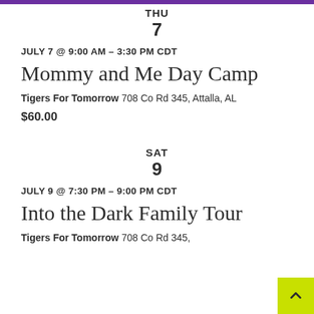THU
7
JULY 7 @ 9:00 AM - 3:30 PM CDT
Mommy and Me Day Camp
Tigers For Tomorrow 708 Co Rd 345, Attalla, AL
$60.00
SAT
9
JULY 9 @ 7:30 PM - 9:00 PM CDT
Into the Dark Family Tour
Tigers For Tomorrow 708 Co Rd 345,